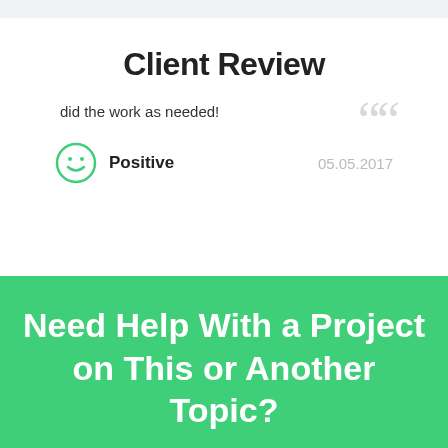Client Review
did the work as needed!
Positive  05.05.2017
Need Help With a Project on This or Another Topic?